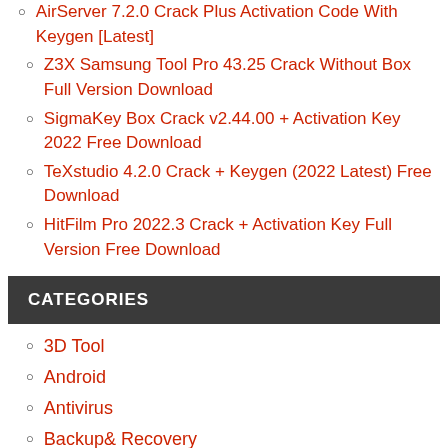AirServer 7.2.0 Crack Plus Activation Code With Keygen [Latest]
Z3X Samsung Tool Pro 43.25 Crack Without Box Full Version Download
SigmaKey Box Crack v2.44.00 + Activation Key 2022 Free Download
TeXstudio 4.2.0 Crack + Keygen (2022 Latest) Free Download
HitFilm Pro 2022.3 Crack + Activation Key Full Version Free Download
CATEGORIES
3D Tool
Android
Antivirus
Backup& Recovery